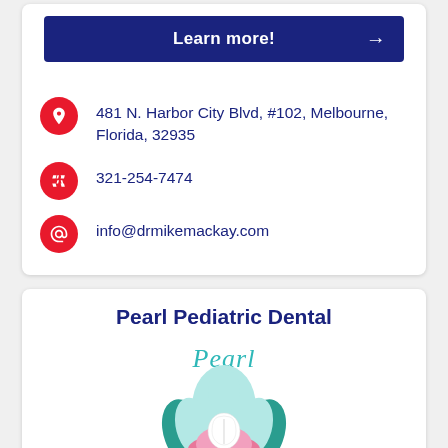Learn more! →
481 N. Harbor City Blvd, #102, Melbourne, Florida, 32935
321-254-7474
info@drmikemackay.com
Pearl Pediatric Dental
[Figure (logo): Pearl Pediatric Dental logo: a teal/blue oyster shell open with a white pearl/tooth inside on a pink cushion, with cursive text 'Pearl' above and 'Pediatric Dental' below in teal cursive.]
Pearl Pediatric Dental offers comprehensive dental care for